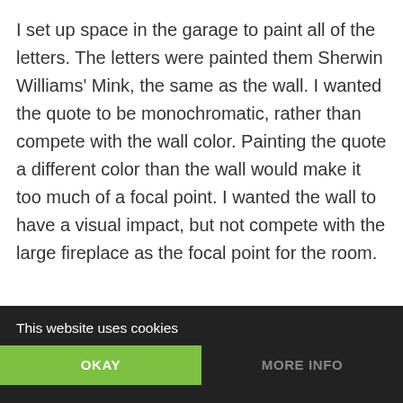I set up space in the garage to paint all of the letters. The letters were painted them Sherwin Williams' Mink, the same as the wall. I wanted the quote to be monochromatic, rather than compete with the wall color. Painting the quote a different color than the wall would make it too much of a focal point. I wanted the wall to have a visual impact, but not compete with the large fireplace as the focal point for the room.
This website uses cookies
OKAY
MORE INFO